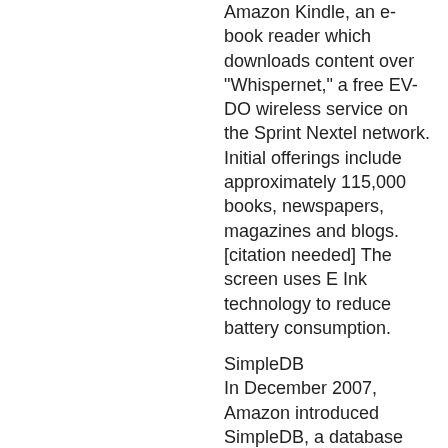Amazon Kindle, an e-book reader which downloads content over "Whispernet," a free EV-DO wireless service on the Sprint Nextel network. Initial offerings include approximately 115,000 books, newspapers, magazines and blogs.[citation needed] The screen uses E Ink technology to reduce battery consumption.
SimpleDB
In December 2007, Amazon introduced SimpleDB, a database system, allowing users of its other infrastructure to utilize a high reliability high performance database system.
[edit] 2008
Amazon MP3
In January 2008 Amazon